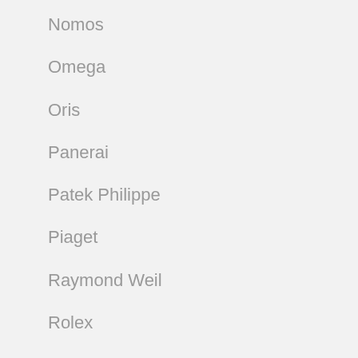Nomos
Omega
Oris
Panerai
Patek Philippe
Piaget
Raymond Weil
Rolex